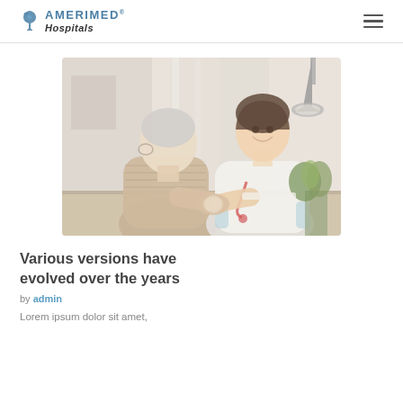AMERIMED Hospitals
[Figure (photo): A smiling female doctor or nurse with a stethoscope holding hands with an elderly female patient across a desk in a clinical setting, with a lamp and plants in the background.]
Various versions have evolved over the years
by admin
Lorem ipsum dolor sit amet,